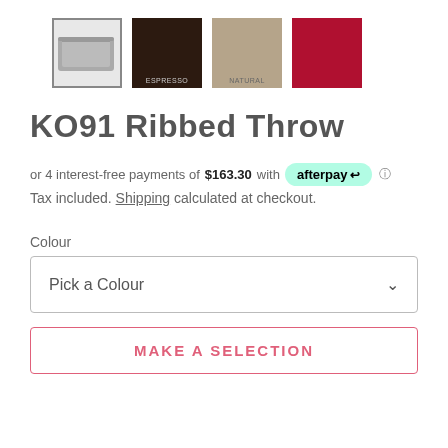[Figure (photo): Product thumbnail images: grey ribbed throw (selected, with border), espresso dark brown swatch, natural/linen swatch, red swatch]
KO91 Ribbed Throw
or 4 interest-free payments of $163.30 with afterpay
Tax included. Shipping calculated at checkout.
Colour
Pick a Colour
MAKE A SELECTION